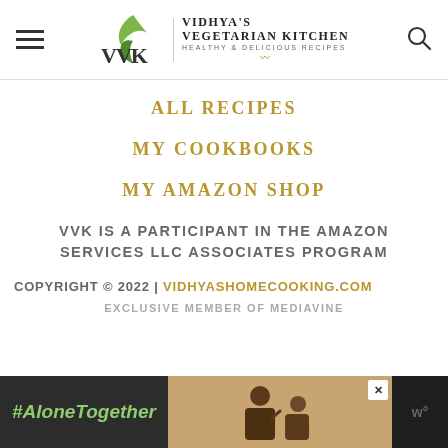VVK — VIDHYA'S VEGETARIAN KITCHEN HEALTHY & DELICIOUS RECIPES
ALL RECIPES
MY COOKBOOKS
MY AMAZON SHOP
VVK IS A PARTICIPANT IN THE AMAZON SERVICES LLC ASSOCIATES PROGRAM
COPYRIGHT © 2022 | VIDHYASHOMECOOKING.COM
[Figure (screenshot): Advertisement banner at bottom: dark background with '#AloneTogether' in green italic text on the left, a photo of a man and child waving, a close (X) button, and a 'w°' logo on the right]